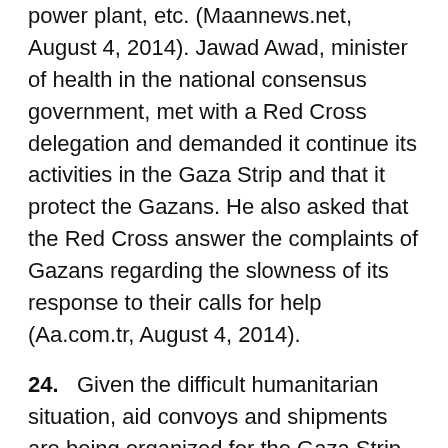power plant, etc. (Maannews.net, August 4, 2014). Jawad Awad, minister of health in the national consensus government, met with a Red Cross delegation and demanded it continue its activities in the Gaza Strip and that it protect the Gazans. He also asked that the Red Cross answer the complaints of Gazans regarding the slowness of its response to their calls for help (Aa.com.tr, August 4, 2014).
24.   Given the difficult humanitarian situation, aid convoys and shipments are being organized for the Gaza Strip, among them the following:
1)  The Palestinian Authority (PA) representative in South Africareported that a medical delegation was being organized which would include 39 doctors, male nurses and orderlies, as well as media personnel. The delegation would bring medical equipment for three hospitals